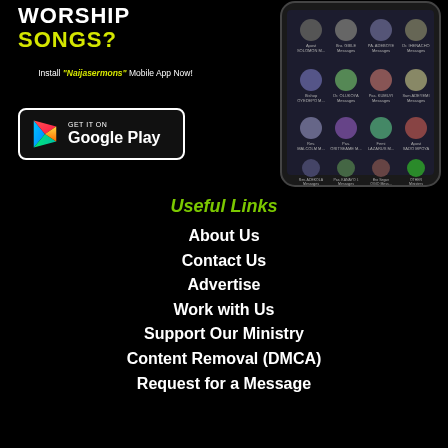WORSHIP SONGS?
Install "Naijasermons" Mobile App Now!
[Figure (screenshot): Google Play Store download button with Play triangle icon]
[Figure (screenshot): Mobile phone mockup showing Naijasermons app with grid of preacher profile photos]
Useful Links
About Us
Contact Us
Advertise
Work with Us
Support Our Ministry
Content Removal (DMCA)
Request for a Message